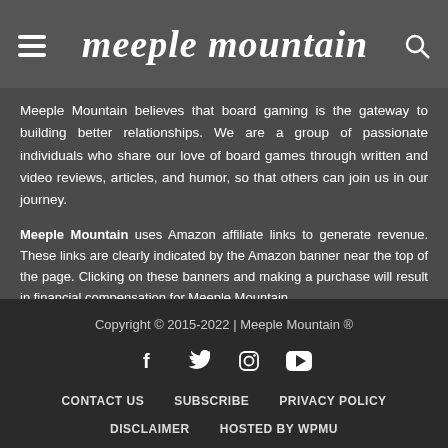meeple mountain
Meeple Mountain believes that board gaming is the gateway to building better relationships. We are a group of passionate individuals who share our love of board games through written and video reviews, articles, and humor, so that others can join us in our journey.
Meeple Mountain uses Amazon affiliate links to generate revenue. These links are clearly indicated by the Amazon banner near the top of the page. Clicking on these banners and making a purchase will result in financial compensation for Meeple Mountain.
Copyright © 2015-2022 | Meeple Mountain ®
CONTACT US  SUBSCRIBE  PRIVACY POLICY
DISCLAIMER  HOSTED BY WPMU